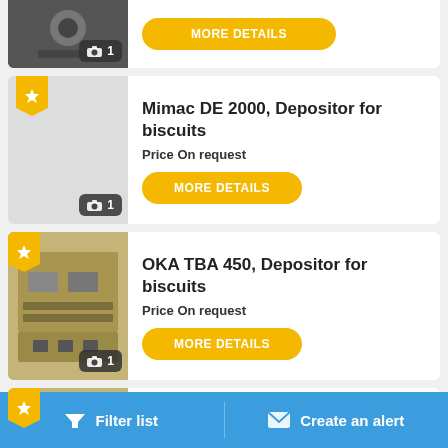[Figure (screenshot): Top partial card: grayscale thumbnail with camera badge showing '1', and a yellow 'MORE DETAILS' button partially visible at top]
Mimac DE 2000, Depositor for biscuits
Price On request
MORE DETAILS
OKA TBA 450, Depositor for biscuits
Price On request
MORE DETAILS
Nip... Depositor for... (partial)
Filter list   Create an alert